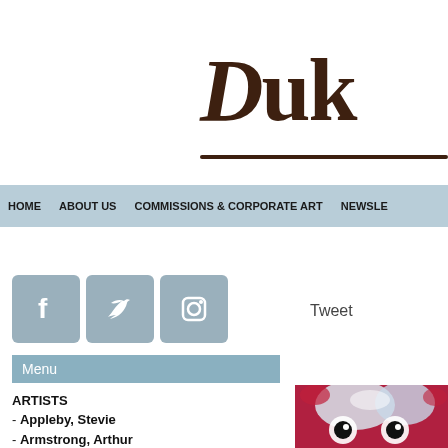[Figure (logo): Partial logo text 'Duk' in dark brown serif font with decorative flourishes and underline]
HOME   ABOUT US   COMMISSIONS & CORPORATE ART   NEWSLE
[Figure (infographic): Three social media icons: Facebook (f), Twitter (bird), Instagram (camera) in grey-blue rounded squares]
Tweet
Menu
ARTISTS
- Appleby, Stevie
- Armstrong, Arthur
- Barry, Moyra
- Bingham, James
[Figure (photo): Close-up abstract painting of an animal or owl face with large dark eyes on red/white/blue background]